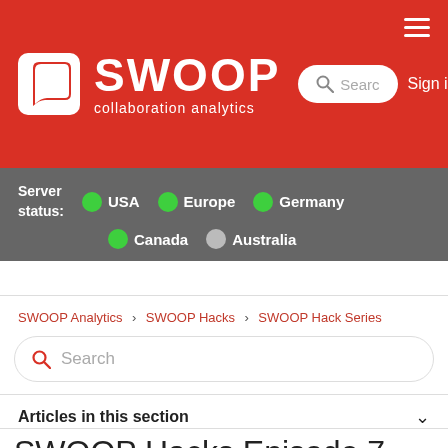[Figure (logo): SWOOP collaboration analytics logo with white icon on red background, large SWOOP text, search bar, Sign in link]
Server status: ● USA ● Europe ● Germany ● Canada ● Australia
SWOOP Analytics > SWOOP Hacks > SWOOP Hack Series
Search
Articles in this section
SWOOP Hacks Episode 7